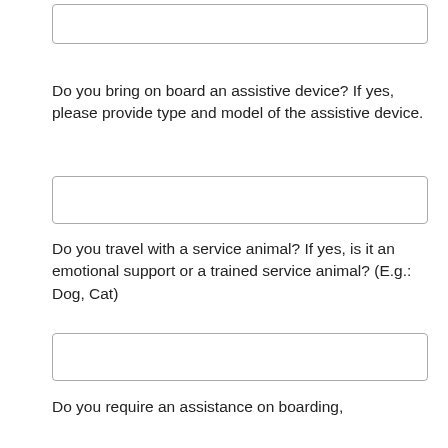[Figure (other): Empty input text box at top of page]
Do you bring on board an assistive device? If yes, please provide type and model of the assistive device.
[Figure (other): Empty input text box below assistive device question]
Do you travel with a service animal? If yes, is it an emotional support or a trained service animal? (E.g.: Dog, Cat)
[Figure (other): Empty input text box below service animal question]
Do you require an assistance on boarding, deplaning of the aircraft, and going around at the airport?
[Figure (other): Empty input text box below boarding assistance question]